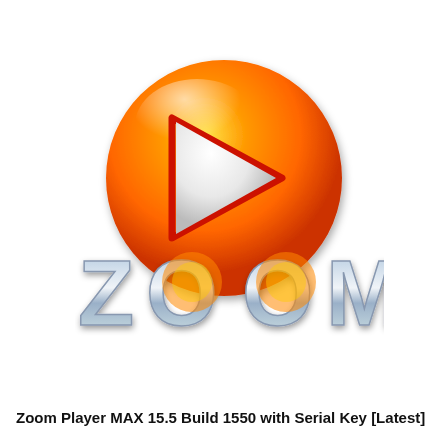[Figure (logo): Zoom Player logo: a large orange glossy circle with a white/light triangular play button in the center with a red border, above large silver/chrome metallic text reading ZOOM, with the two O letters partially replaced by the orange circle element]
Zoom Player MAX 15.5 Build 1550 with Serial Key [Latest]